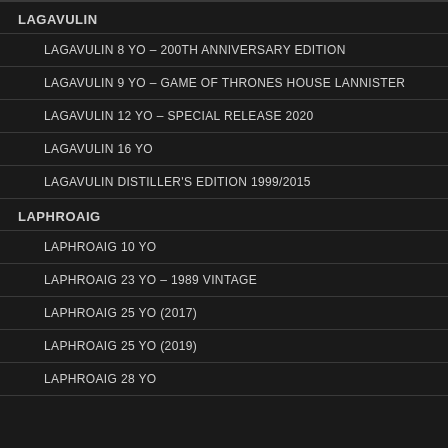LAGAVULIN
LAGAVULIN 8 YO – 200TH ANNIVERSARY EDITION
LAGAVULIN 9 YO – GAME OF THRONES HOUSE LANNISTER
LAGAVULIN 12 YO – SPECIAL RELEASE 2020
LAGAVULIN 16 YO
LAGAVULIN DISTILLER'S EDITION 1999/2015
LAPHROAIG
LAPHROAIG 10 YO
LAPHROAIG 23 YO – 1989 VINTAGE
LAPHROAIG 25 YO (2017)
LAPHROAIG 25 YO (2019)
LAPHROAIG 28 YO